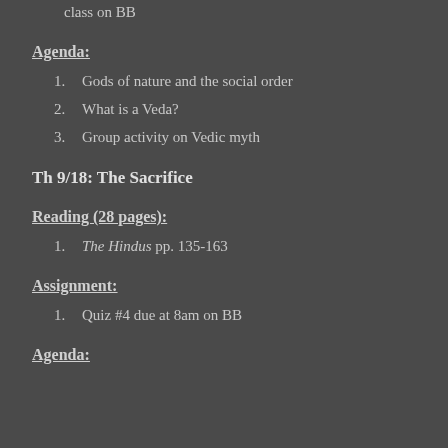class on BB
Agenda:
Gods of nature and the social order
What is a Veda?
Group activity on Vedic myth
Th 9/18: The Sacrifice
Reading (28 pages):
The Hindus pp. 135-163
Assignment:
Quiz #4 due at 8am on BB
Agenda: